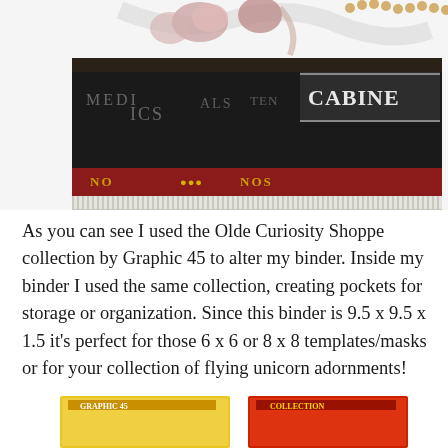[Figure (photo): A decorated dark box/binder adorned with flowers, ribbons, pearls, and feathers on top. The box has vintage-style text and decorative red panels with ornate lettering. The text visible includes partial words like 'CABINE', 'ICS', 'ALS', 'TEN'. The bottom portion of the box has a comb-like or accordion-style spine with many small white teeth/slats.]
As you can see I used the Olde Curiosity Shoppe collection by Graphic 45 to alter my binder. Inside my binder I used the same collection, creating pockets for storage or organization. Since this binder is 9.5 x 9.5 x 1.5 it’s perfect for those 6 x 6 or 8 x 8 templates/masks or for your collection of flying unicorn adornments!
[Figure (photo): Partial view of colorful decorated papers or products at the bottom of the page, showing yellow and red colors with decorative designs, partially cropped.]